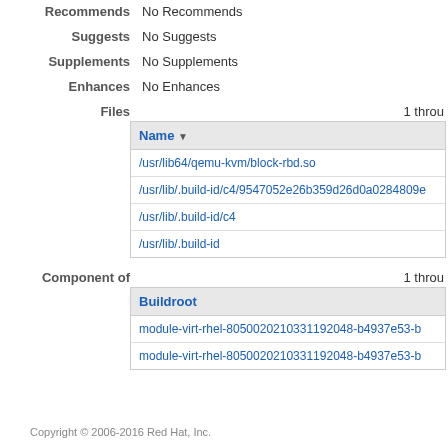Recommends: No Recommends
Suggests: No Suggests
Supplements: No Supplements
Enhances: No Enhances
Files  1 throu
| Name ▼ |
| --- |
| /usr/lib64/qemu-kvm/block-rbd.so |
| /usr/lib/.build-id/c4/9547052e26b359d26d0a0284809e |
| /usr/lib/.build-id/c4 |
| /usr/lib/.build-id |
Component of  1 throu
| Buildroot |
| --- |
| module-virt-rhel-805002021033119204 8-b4937e53-b |
| module-virt-rhel-8050020210331192048-b4937e53-b |
Copyright © 2006-2016 Red Hat, Inc.